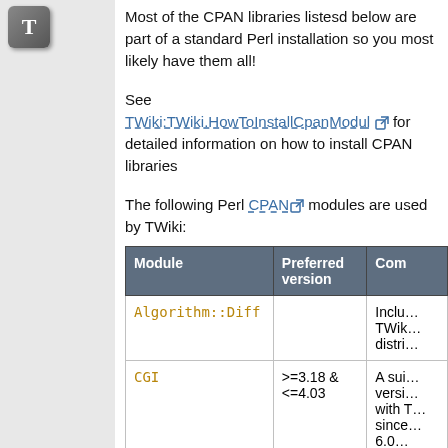[Figure (logo): T icon button in gray square with rounded corners]
Most of the CPAN libraries listesd below are part of a standard Perl installation so you most likely have them all!
See TWiki:TWiki.HowToInstallCpanModul... for detailed information on how to install CPAN libraries
The following Perl CPAN modules are used by TWiki:
| Module | Preferred version | Com... |
| --- | --- | --- |
| Algorithm::Diff |  | Inclu... TWiki... distri... |
| CGI | >=3.18 & <=4.03 | A sui... versi... with T... since... 6.0... |